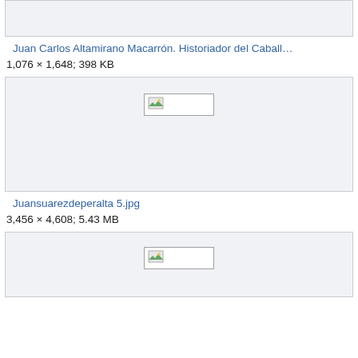[Figure (other): Broken/placeholder image box at top (partial, cropped)]
Juan Carlos Altamirano Macarrón. Historiador del Caball…
1,076 × 1,648; 398 KB
[Figure (other): Broken/placeholder image box (Juansuarezdeperalta 5.jpg)]
Juansuarezdeperalta 5.jpg
3,456 × 4,608; 5.43 MB
[Figure (other): Broken/placeholder image box at bottom (partial, cropped)]